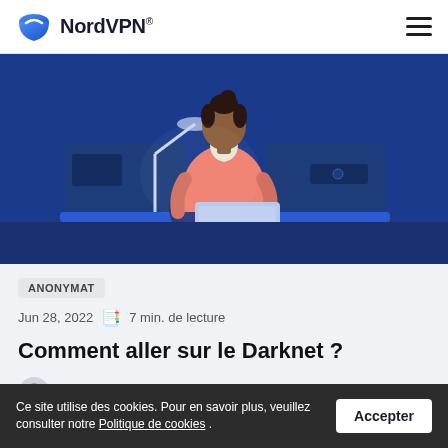NordVPN®
[Figure (illustration): Illustration of a woman with dark hair in a bun wearing a pink/coral top, sitting at a desk working on a laptop with a desk lamp, against a dark blue background.]
ANONYMAT
Jun 28, 2022   7 min. de lecture
Comment aller sur le Darknet ?
Emilie Fabre
Ce site utilise des cookies. Pour en savoir plus, veuillez consulter notre Politique de cookies .